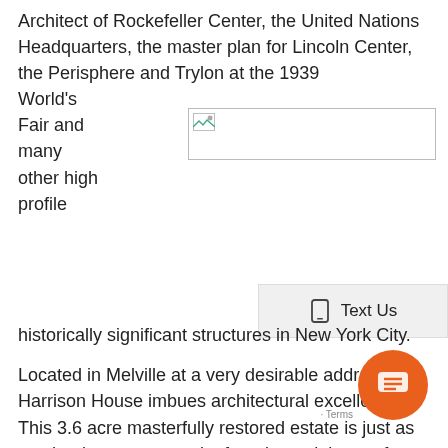Architect of Rockefeller Center, the United Nations Headquarters, the master plan for Lincoln Center, the Perisphere and Trylon at the 1939 World's Fair and many other high profile
[Figure (photo): Broken/missing image placeholder in top right area]
[Figure (screenshot): Text Us button UI element with mobile phone icon]
historically significant structures in New York City.
Located in Melville at a very desirable address, the Harrison House imbues architectural excellence.  This 3.6 acre masterfully restored estate is just as much a home as a work of art that celebrates form, material and the architect's penchant
[Figure (other): Orange chat bubble icon in bottom right corner]